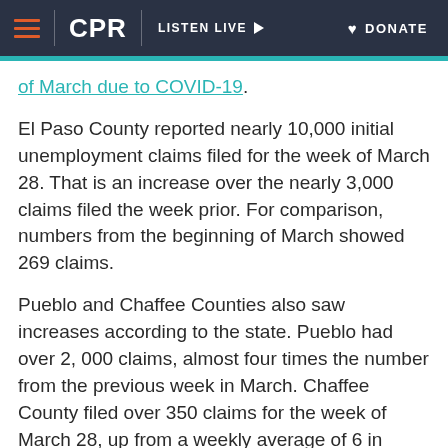CPR | LISTEN LIVE | DONATE
of March due to COVID-19.
El Paso County reported nearly 10,000 initial unemployment claims filed for the week of March 28. That is an increase over the nearly 3,000 claims filed the week prior. For comparison, numbers from the beginning of March showed 269 claims.
Pueblo and Chaffee Counties also saw increases according to the state. Pueblo had over 2, 000 claims, almost four times the number from the previous week in March. Chaffee County filed over 350 claims for the week of March 28, up from a weekly average of 6 in 2019.